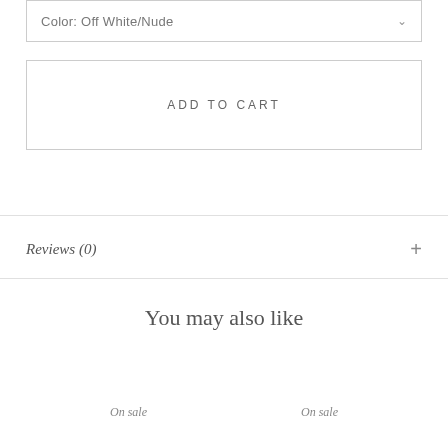Color: Off White/Nude
ADD TO CART
Reviews (0)
You may also like
On sale
On sale